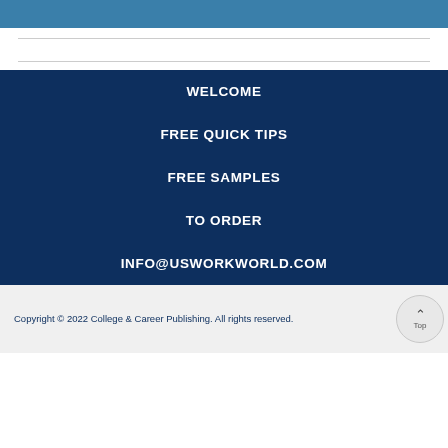[Figure (other): Top blue decorative header bar]
WELCOME
FREE QUICK TIPS
FREE SAMPLES
TO ORDER
INFO@USWORKWORLD.COM
Copyright © 2022 College & Career Publishing. All rights reserved.